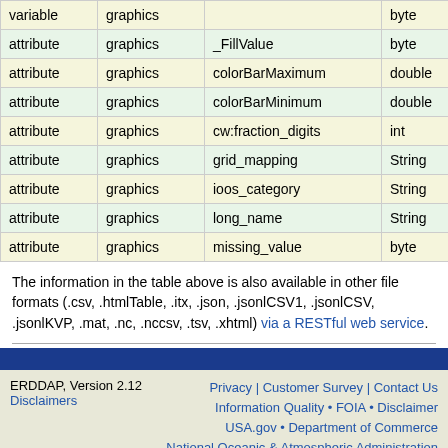| variable | graphics |  | byte | time, alt |
| --- | --- | --- | --- | --- |
| attribute | graphics | _FillValue | byte | 0 |
| attribute | graphics | colorBarMaximum | double | 20.0 |
| attribute | graphics | colorBarMinimum | double | 0.0 |
| attribute | graphics | cw:fraction_digits | int | 0 |
| attribute | graphics | grid_mapping | String | coord_r |
| attribute | graphics | ioos_category | String | Other |
| attribute | graphics | long_name | String | graphics |
| attribute | graphics | missing_value | byte | 0 |
The information in the table above is also available in other file formats (.csv, .htmlTable, .itx, .json, .jsonlCSV1, .jsonlCSV, .jsonlKVP, .mat, .nc, .nccsv, .tsv, .xhtml) via a RESTful web service.
ERDDAP, Version 2.12 | Disclaimers | Privacy | Customer Survey | Contact Us | Information Quality • FOIA • Disclaimer | USA.gov • Department of Commerce | National Oceanic & Atmospheric Administration | Center for Satellite Applications and Research | Satellite Oceanography & Climatology Division